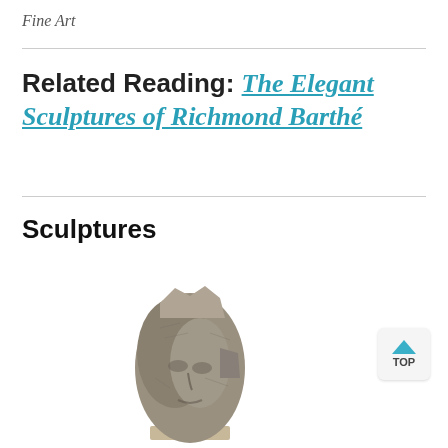Fine Art
Related Reading: The Elegant Sculptures of Richmond Barthé
Sculptures
[Figure (photo): A stone sculpture of a face/head, rough-hewn granite or similar stone, mounted on a small square base. The sculpture shows facial features emerging from the rough stone.]
TOP